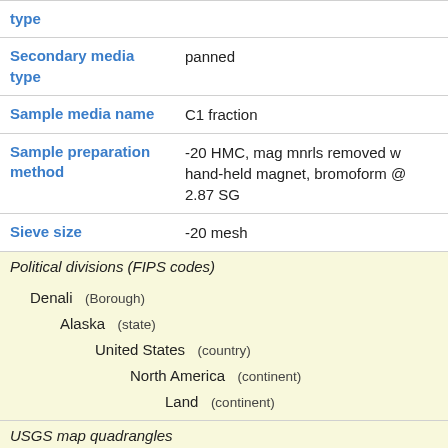| type |  |
| Secondary media type | panned |
| Sample media name | C1 fraction |
| Sample preparation method | -20 HMC, mag mnrls removed w hand-held magnet, bromoform @ 2.87 SG |
| Sieve size | -20 mesh |
Political divisions (FIPS codes)
Denali (Borough)
Alaska (state)
United States (country)
North America (continent)
Land (continent)
USGS map quadrangles
Mt Mckinley C-2 (1:63,360 Alaska quadrangle)